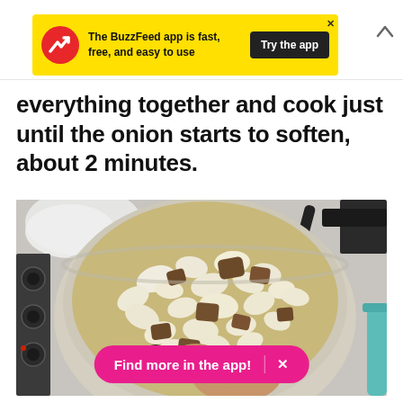[Figure (infographic): BuzzFeed app promotional banner — yellow background with red circular BuzzFeed arrow logo, text 'The BuzzFeed app is fast, free, and easy to use', black 'Try the app' button, X close button top-right, chevron-up arrow to the right of the banner.]
everything together and cook just until the onion starts to soften, about 2 minutes.
[Figure (photo): Overhead photo of a light-colored Dutch oven on a stove with diced onions and browned meat pieces being stirred, stove burner knobs visible on the left, teal pot visible on the far right edge. A hand holds a spoon stirring the contents. A white cloth is visible in the upper left.]
Find more in the app!